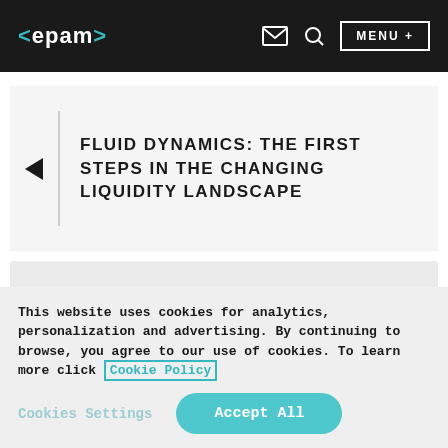<epam> [mail icon] [search icon] MENU +
FLUID DYNAMICS: THE FIRST STEPS IN THE CHANGING LIQUIDITY LANDSCAPE
This website uses cookies for analytics, personalization and advertising. By continuing to browse, you agree to our use of cookies. To learn more click Cookie Policy
Cookies Settings   Accept All